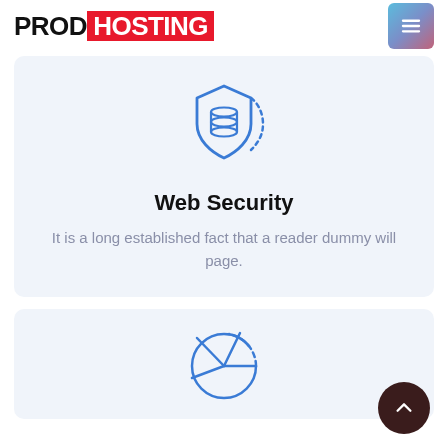PROD HOSTING
[Figure (illustration): Shield icon with database/server stacked discs inside, blue outline style, with dashed arc on right side]
Web Security
It is a long established fact that a reader dummy will page.
[Figure (illustration): Pie chart icon, blue outline style, divided into segments with lines, partially dashed arc]